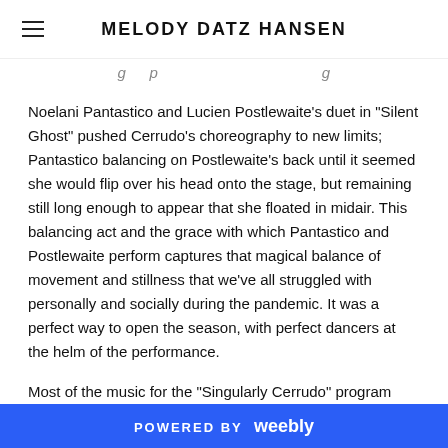MELODY DATZ HANSEN
g p g
Noelani Pantastico and Lucien Postlewaite's duet in "Silent Ghost" pushed Cerrudo's choreography to new limits; Pantastico balancing on Postlewaite's back until it seemed she would flip over his head onto the stage, but remaining still long enough to appear that she floated in midair. This balancing act and the grace with which Pantastico and Postlewaite perform captures that magical balance of movement and stillness that we've all struggled with personally and socially during the pandemic. It was a perfect way to open the season, with perfect dancers at the helm of the performance.
Most of the music for the "Singularly Cerrudo" program was pre-recorded, including pieces from Philip Glass, Max Richter, Tom Waite and Kathleen Brennan, and the rock group Beirut...
POWERED BY weebly